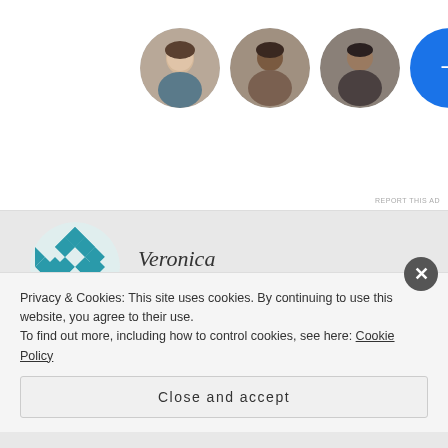[Figure (screenshot): Ad banner showing three circular profile photos of people and a blue circle with a plus sign]
REPORT THIS AD
[Figure (illustration): Teal geometric patterned avatar for user Veronica]
Veronica
JUNE 24, 2019 AT 9:55 PM
So I went to shut the pool filter off this evening and I found a black bird laying face down in my pool. I fished it out and laid it on a cushion and kept on apologizing to him for not being there to help him. I thought if I rubbed it, it
Privacy & Cookies: This site uses cookies. By continuing to use this website, you agree to their use.
To find out more, including how to control cookies, see here: Cookie Policy
Close and accept